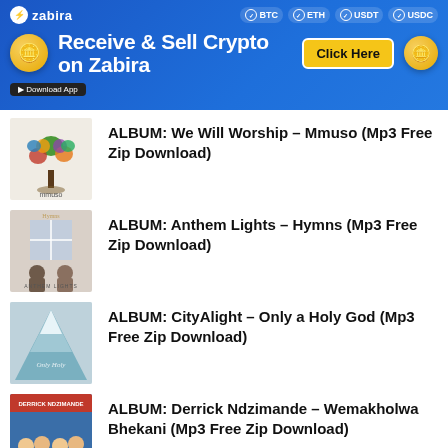[Figure (illustration): Zabira crypto banner ad with blue gradient background, gold coins, BTC ETH USDT USDC badges, 'Receive & Sell Crypto on Zabira' text and 'Click Here' yellow button]
[Figure (illustration): Album cover for We Will Worship – Mmuso, showing a colorful tree illustration]
ALBUM: We Will Worship – Mmuso (Mp3 Free Zip Download)
[Figure (illustration): Album cover for Anthem Lights – Hymns, showing two people in front of a window]
ALBUM: Anthem Lights – Hymns (Mp3 Free Zip Download)
[Figure (illustration): Album cover for CityAlight – Only a Holy God, showing a snowy mountain peak]
ALBUM: CityAlight – Only a Holy God (Mp3 Free Zip Download)
[Figure (photo): Album cover for Derrick Ndzimande – Wemakholwa Bhekani, showing group of people]
ALBUM: Derrick Ndzimande – Wemakholwa Bhekani (Mp3 Free Zip Download)